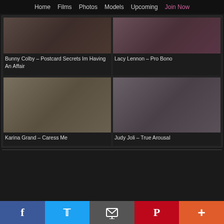Home  Films  Photos  Models  Upcoming  Join Now
[Figure (photo): Adult content thumbnail - Bunny Colby]
Bunny Colby – Postcard Secrets Im Having An Affair
[Figure (photo): Adult content thumbnail - Lacy Lennon]
Lacy Lennon – Pro Bono
[Figure (photo): Adult content thumbnail - Karina Grand]
Karina Grand – Caress Me
[Figure (photo): Adult content thumbnail - Judy Joli]
Judy Joli – True Arousal